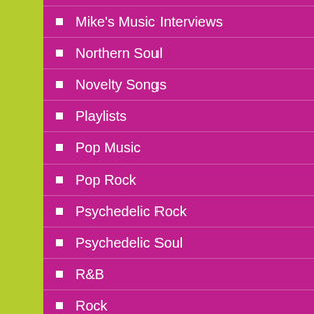Mike's Music Interviews
Northern Soul
Novelty Songs
Playlists
Pop Music
Pop Rock
Psychedelic Rock
Psychedelic Soul
R&B
Rock
Rock and Roll